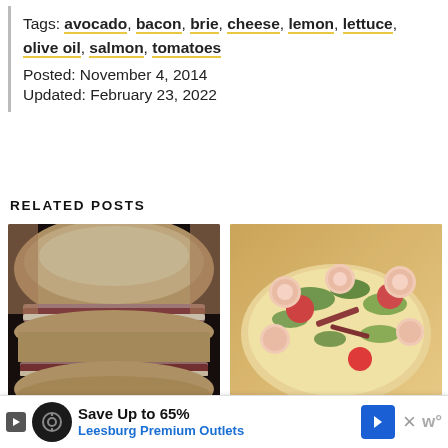Tags: avocado, bacon, brie, cheese, lemon, lettuce, olive oil, salmon, tomatoes
Posted: November 4, 2014
Updated: February 23, 2022
RELATED POSTS
[Figure (photo): Photo of a grinder sandwich cut in half, showing layers of deli meat and cheese on a roll, held in hand]
Grinder Sandwich
[Figure (photo): Photo of BLT shrimp flatbreads topped with shrimp, tomatoes, arugula, and bacon on a wooden surface]
BLT Shrimp Flatbreads
Save Up to 65%
Leesburg Premium Outlets